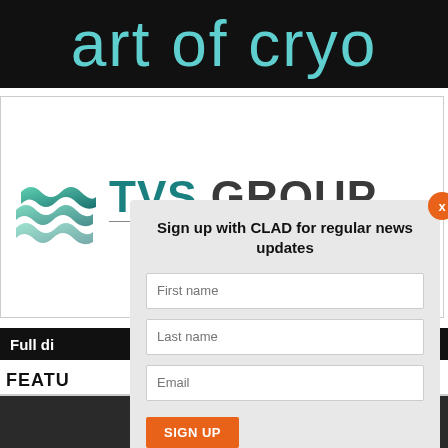[Figure (logo): Art of Cryo logo — teal/cyan stylized text on black background]
[Figure (logo): TVS Group logo with teal wave graphic and bold dark text]
Full di
FEATU
[Figure (screenshot): Newsletter sign-up modal overlay with fields for First name, Last name, Email and SIGN UP button. Title: Sign up with CLAD for regular news updates. Orange X close button top right.]
[Figure (photo): Dark photo strip at bottom of page]